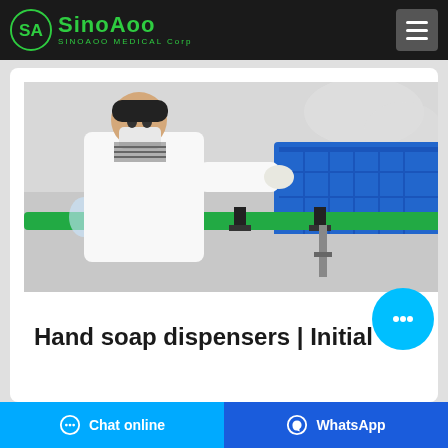SINOAOO MEDICAL Corp
[Figure (photo): Worker in white lab coat and mask working on a green conveyor belt production line with clear glass/plastic bottles; blue plastic crates visible in background]
Hand soap dispensers | Initial
Chat online
WhatsApp